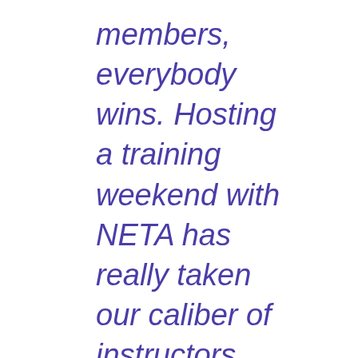members, everybody wins. Hosting a training weekend with NETA has really taken our caliber of instructors and trainers to the next level.